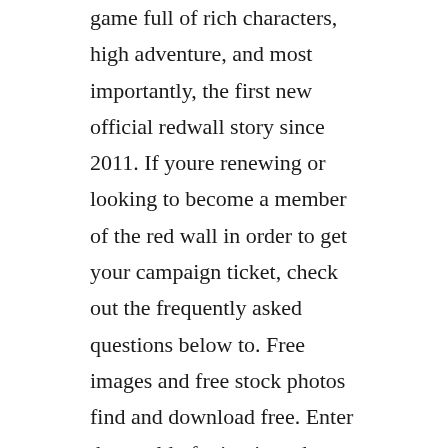game full of rich characters, high adventure, and most importantly, the first new official redwall story since 2011. If youre renewing or looking to become a member of the red wall in order to get your campaign ticket, check out the frequently asked questions below to. Free images and free stock photos find and download free. Enter the world of minutia and collect cute characters, level them up and defeat the slugs. Watch full episodes plus exclusive content and cast info on. New 2018 tamil movies download,telugu 2020 movies download,hollywood movies,tamil dubbed